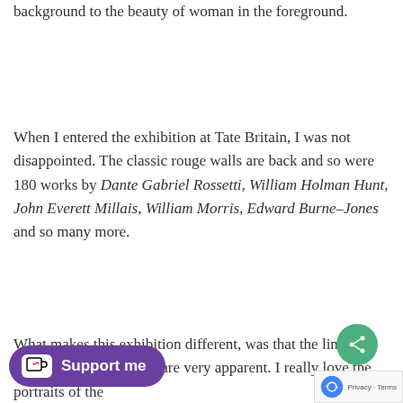background to the beauty of woman in the foreground.
When I entered the exhibition at Tate Britain, I was not disappointed. The classic rouge walls are back and so were 180 works by Dante Gabriel Rossetti, William Holman Hunt, John Everett Millais, William Morris, Edward Burne–Jones and so many more.
What makes this exhibition different, was that the links between art and society are very apparent. I really love the portraits of the